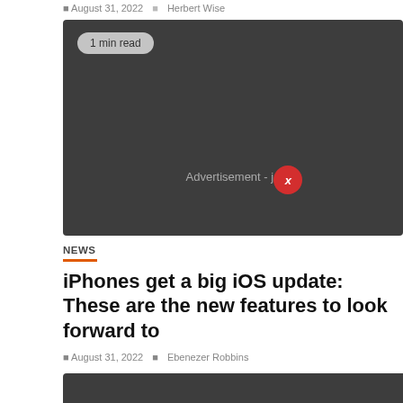August 31, 2022  Herbert Wise
[Figure (screenshot): Dark gray advertisement block with '1 min read' badge at top left, 'Advertisement - ja...' text and a red close (x) button near bottom center]
NEWS
iPhones get a big iOS update: These are the new features to look forward to
August 31, 2022  Ebenezer Robbins
[Figure (screenshot): Dark gray image block with '3 min read' badge at bottom left, partially visible at bottom of page]